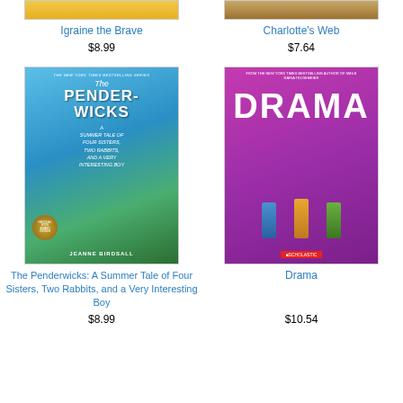[Figure (photo): Book cover partial top of Igraine the Brave]
[Figure (photo): Book cover partial top of Charlotte's Web]
Igraine the Brave
Charlotte's Web
$8.99
$7.64
[Figure (photo): Book cover of The Penderwicks: A Summer Tale of Four Sisters, Two Rabbits, and a Very Interesting Boy by Jeanne Birdsall]
[Figure (photo): Book cover of Drama by Raina Telgemeier]
The Penderwicks: A Summer Tale of Four Sisters, Two Rabbits, and a Very Interesting Boy
Drama
$8.99
$10.54